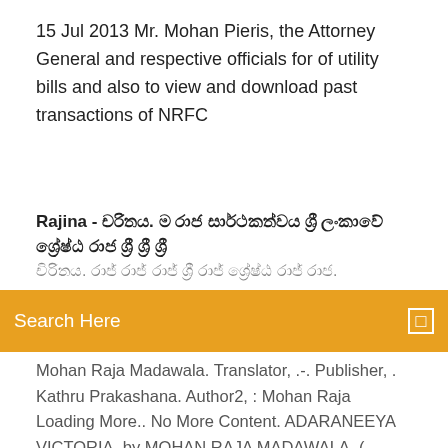15 Jul 2013 Mr. Mohan Pieris, the Attorney General and respective officials for of utility bills and also to view and download past transactions of NRFC
Rajina - [Sinhala text]. [Sinhala text continued]
Search Here
Mohan Raja Madawala. Translator, .-. Publisher, . Kathru Prakashana. Author2, : Mohan Raja  Loading More.. No More Content. ADARANEEYA VICTORIA. by MOHAN RAJA MADAWALA. ( 234556 ). Format, Price. Paperback, LKR 600.00. Add to cart  Reader Q&A. To ask other readers questions about [Sinhala], please sign up. Recent Questions. can we get a pdf copy of this book? 1 like · like · 3 years ago  read books online from samudra books; best online book store in Sri Lanka. Our collection include Sri Lankan books, children's books, romance books, fiction. For three decades, the Sri Lanka Army battled